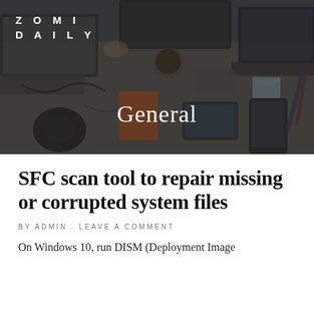[Figure (photo): Overhead photo of a desk with multiple laptops, tablets, phones, headphones, coffee cups, and office items, dark overlay applied]
ZOMI
DAILY
General
SFC scan tool to repair missing or corrupted system files
BY ADMIN . LEAVE A COMMENT
On Windows 10, run DISM (Deployment Image